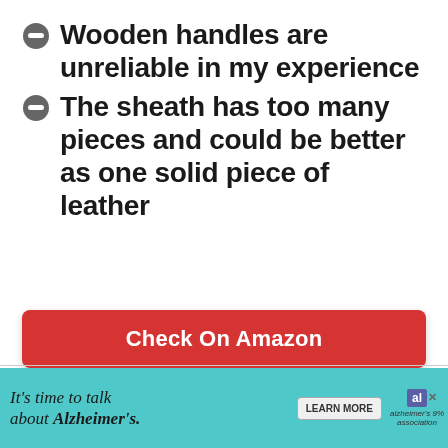Wooden handles are unreliable in my experience
The sheath has too many pieces and could be better as one solid piece of leather
Check On Amazon
Check BladeHQ
[Figure (infographic): Advertisement banner: It's time to talk about Alzheimer's. with Learn More button and Alzheimer's Association logo]